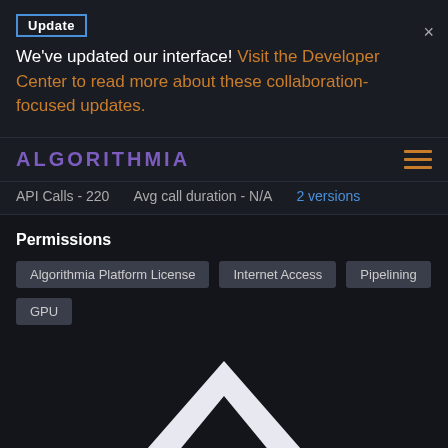Update
We've updated our interface! Visit the Developer Center to read more about these collaboration-focused updates.
ALGORITHMIA
API Calls - 220   Avg call duration - N/A   2 versions
Permissions
Algorithmia Platform License
Internet Access
Pipelining
GPU
[Figure (logo): Algorithmia chevron/arrow logo in white on dark background]